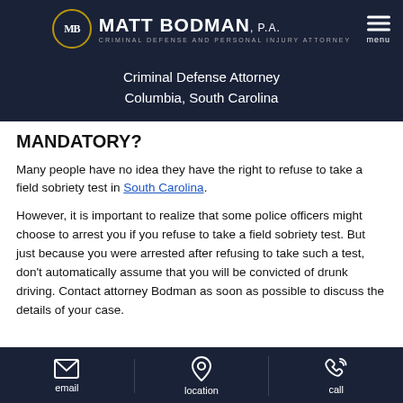MATT BODMAN, P.A. — Criminal Defense and Personal Injury Attorney
Criminal Defense Attorney
Columbia, South Carolina
MANDATORY?
Many people have no idea they have the right to refuse to take a field sobriety test in South Carolina.
However, it is important to realize that some police officers might choose to arrest you if you refuse to take a field sobriety test. But just because you were arrested after refusing to take such a test, don't automatically assume that you will be convicted of drunk driving. Contact attorney Bodman as soon as possible to discuss the details of your case.
email   location   call